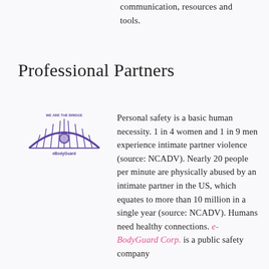communication, resources and tools.
Professional Partners
[Figure (logo): eBodyGuard bridge logo with text 'We Are the Bridge' and 'eBodyGuard']
Personal safety is a basic human necessity. 1 in 4 women and 1 in 9 men experience intimate partner violence (source: NCADV). Nearly 20 people per minute are physically abused by an intimate partner in the US, which equates to more than 10 million in a single year (source: NCADV). Humans need healthy connections. e-BodyGuard Corp. is a public safety company